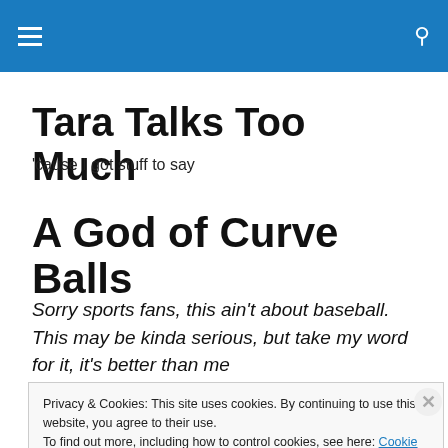Tara Talks Too Much — site header navigation bar
Tara Talks Too Much
'cause I got stuff to say
A God of Curve Balls
Sorry sports fans, this ain't about baseball. This may be kinda serious, but take my word for it, it's better than me
Privacy & Cookies: This site uses cookies. By continuing to use this website, you agree to their use.
To find out more, including how to control cookies, see here: Cookie Policy